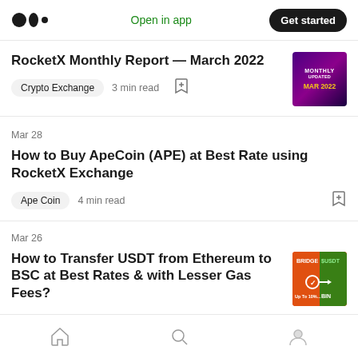Medium logo | Open in app | Get started
RocketX Monthly Report — March 2022
Crypto Exchange  3 min read
[Figure (illustration): Monthly report thumbnail with purple background and text: MONTHLY UPDATED MAR 2022]
Mar 28
How to Buy ApeCoin (APE) at Best Rate using RocketX Exchange
Ape Coin  4 min read
Mar 26
How to Transfer USDT from Ethereum to BSC at Best Rates & with Lesser Gas Fees?
[Figure (illustration): Bridge USDT thumbnail with orange background]
Home | Search | Profile